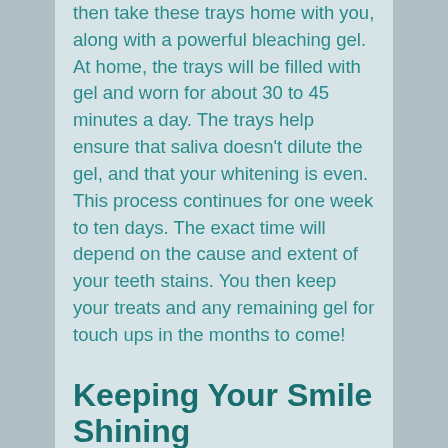then take these trays home with you, along with a powerful bleaching gel. At home, the trays will be filled with gel and worn for about 30 to 45 minutes a day. The trays help ensure that saliva doesn't dilute the gel, and that your whitening is even. This process continues for one week to ten days. The exact time will depend on the cause and extent of your teeth stains. You then keep your treats and any remaining gel for touch ups in the months to come!
Keeping Your Smile Shining
You can also take other steps to prevent